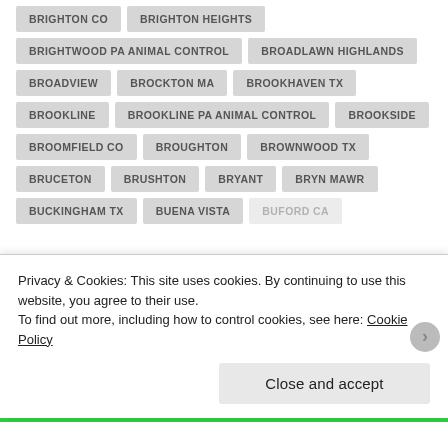BRIGHTON CO
BRIGHTON HEIGHTS
BRIGHTWOOD PA ANIMAL CONTROL
BROADLAWN HIGHLANDS
BROADVIEW
BROCKTON MA
BROOKHAVEN TX
BROOKLINE
BROOKLINE PA ANIMAL CONTROL
BROOKSIDE
BROOMFIELD CO
BROUGHTON
BROWNWOOD TX
BRUCETON
BRUSHTON
BRYANT
BRYN MAWR
BUCKINGHAM TX
BUENA VISTA
BUFORD CA
Privacy & Cookies: This site uses cookies. By continuing to use this website, you agree to their use. To find out more, including how to control cookies, see here: Cookie Policy
Close and accept